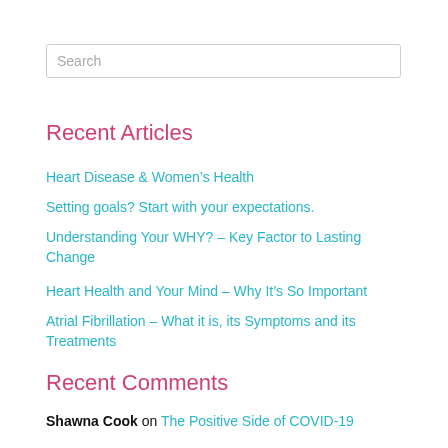Search
Recent Articles
Heart Disease & Women's Health
Setting goals? Start with your expectations.
Understanding Your WHY? – Key Factor to Lasting Change
Heart Health and Your Mind – Why It's So Important
Atrial Fibrillation – What it is, its Symptoms and its Treatments
Recent Comments
Shawna Cook on The Positive Side of COVID-19